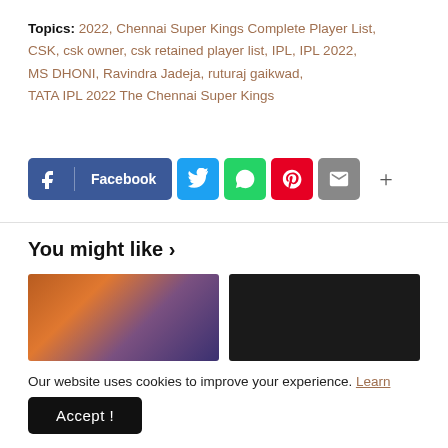Topics: 2022, Chennai Super Kings Complete Player List, CSK, csk owner, csk retained player list, IPL, IPL 2022, MS DHONI, Ravindra Jadeja, ruturaj gaikwad, TATA IPL 2022 The Chennai Super Kings
[Figure (other): Social share buttons: Facebook, Twitter, WhatsApp, Pinterest, Email, and a plus (more) button]
You might like ›
[Figure (photo): Two thumbnail images side by side: left shows a person with orange/red hair in a dark concert setting; right shows three people posing together on a dark background]
Our website uses cookies to improve your experience. Learn more
Accept !